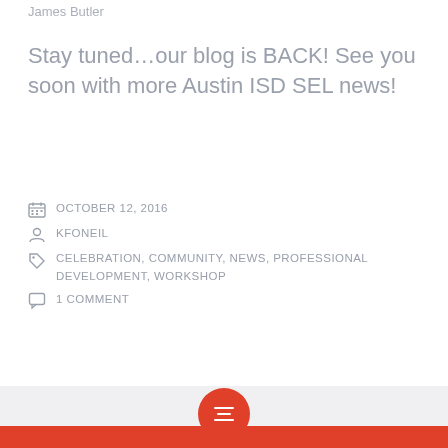James Butler
Stay tuned…our blog is BACK!  See you soon with more Austin ISD SEL news!
OCTOBER 12, 2016
KFONEIL
CELEBRATION, COMMUNITY, NEWS, PROFESSIONAL DEVELOPMENT, WORKSHOP
1 COMMENT